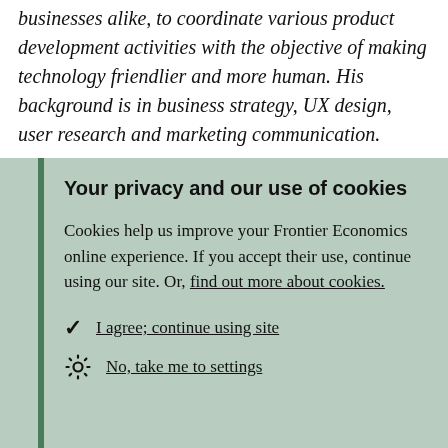businesses alike, to coordinate various product development activities with the objective of making technology friendlier and more human. His background is in business strategy, UX design, user research and marketing communication.
Your privacy and our use of cookies
Cookies help us improve your Frontier Economics online experience. If you accept their use, continue using our site. Or, find out more about cookies.
I agree; continue using site
No, take me to settings